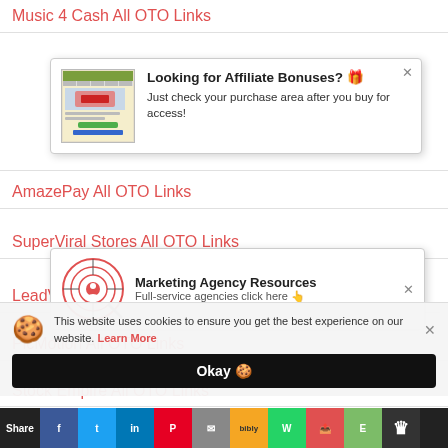Music 4 Cash All OTO Links
[Figure (screenshot): Popup notification: Looking for Affiliate Bonuses? Just check your purchase area after you buy for access!]
AmazePay All OTO Links
SuperViral Stores All OTO Links
LeadVale...
[Figure (infographic): Marketing Agency Resources popup: Full-service agencies click here]
PicMotion All OTO Links
Stock Empire All OTO Links
This website uses cookies to ensure you get the best experience on our website. Learn More
Okay 🍪
Share | Facebook | Twitter | LinkedIn | Pinterest | Email | bibly | WhatsApp | ... | Evernote | more